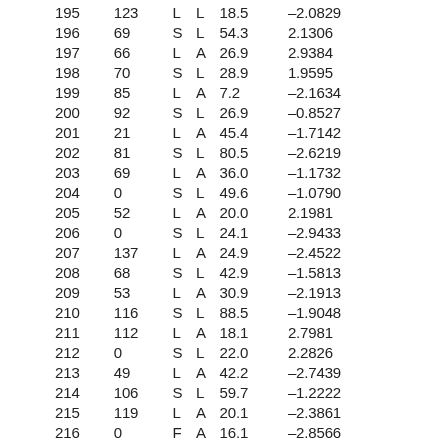| 195 | 123 | L | L | 18.5 | –2.0829 |
| 196 | 69 | S | L | 54.3 | 2.1306 |
| 197 | 66 | L | A | 26.9 | 2.9384 |
| 198 | 70 | S | L | 28.9 | 1.9595 |
| 199 | 85 | L | A | 7.2 | –2.1634 |
| 200 | 92 | S | L | 26.9 | –0.8527 |
| 201 | 21 | L | A | 45.4 | –1.7142 |
| 202 | 81 | S | L | 80.5 | –2.6219 |
| 203 | 69 | L | A | 36.0 | –1.1732 |
| 204 | 0 | S | L | 49.6 | –1.0790 |
| 205 | 52 | L | A | 20.0 | 2.1981 |
| 206 | 0 | S | L | 24.1 | –2.9433 |
| 207 | 137 | L | A | 24.9 | –2.4522 |
| 208 | 68 | S | L | 42.9 | –1.5813 |
| 209 | 53 | L | A | 30.9 | –2.1913 |
| 210 | 116 | S | L | 88.5 | –1.9048 |
| 211 | 112 | L | A | 18.1 | 2.7981 |
| 212 | 0 | S | L | 22.0 | 2.2826 |
| 213 | 49 | L | A | 42.2 | –2.7439 |
| 214 | 106 | S | L | 59.7 | –1.2222 |
| 215 | 119 | L | A | 20.1 | –2.3861 |
| 216 | 0 | F | A | 16.1 | –2.8566 |
| 217 | 96 | S | L | 27.2 | –1.6693 |
| 218 | 48 | L | A | 40.1 | –2.3728 |
| 219 | 65 | S | L | 41.3 | 2.7865 |